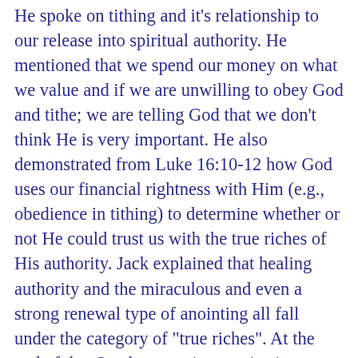He spoke on tithing and it's relationship to our release into spiritual authority. He mentioned that we spend our money on what we value and if we are unwilling to obey God and tithe; we are telling God that we don't think He is very important. He also demonstrated from Luke 16:10-12 how God uses our financial rightness with Him (e.g., obedience in tithing) to determine whether or not He could trust us with the true riches of His authority. Jack explained that healing authority and the miraculous and even a strong renewal type of anointing all fall under the category of "true riches". At the end of that Sunday morning service in Toronto, Jack Deer said that God was going to heal some of the people with terminal cancer as a sign that this message was really from Him. Of course, I'd prayed that God would touch/heal Diana as well. Our whole Church had been praying for her for a very long time (monthes). I was deep in intercession for Diana as they were ministering to the people with terminal cancer who'd come forward for prayer. I asked God to pretend that Diana was standing in that group and to visit her with the same healing anointing. The Lord spoke to me and said, "Teresa, your Church is not tithing. That is why you (corporately) do not have authority